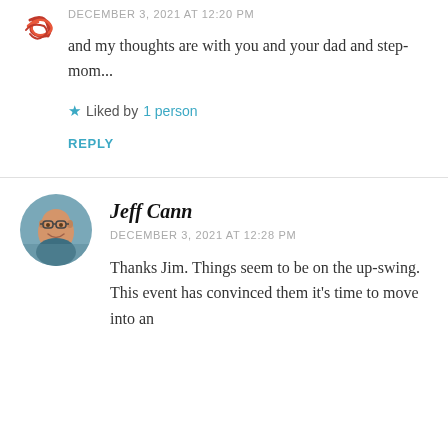[Figure (illustration): Decorative avatar with red/orange swirl illustration]
DECEMBER 3, 2021 AT 12:20 PM
and my thoughts are with you and your dad and step-mom...
★ Liked by 1 person
REPLY
[Figure (photo): Circular profile photo of Jeff Cann, a bald man with glasses smiling]
Jeff Cann
DECEMBER 3, 2021 AT 12:28 PM
Thanks Jim. Things seem to be on the up-swing. This event has convinced them it's time to move into an